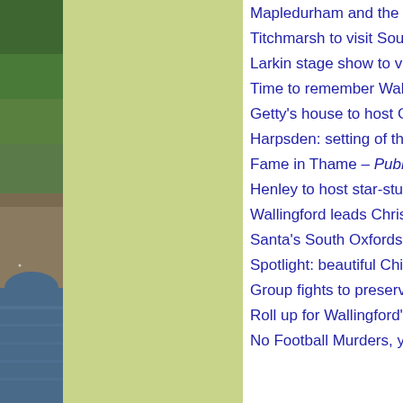[Figure (photo): Photograph of a stone bridge and river with green foliage, shown as a narrow left column]
Mapledurham and the Hollyw...
Titchmarsh to visit South Oxfo...
Larkin stage show to visit Tha...
Time to remember Wallingford'...
Getty's house to host Garsingt...
Harpsden: setting of the Midso...
Fame in Thame – Published 9b...
Henley to host star-studded Xm...
Wallingford leads Christmas ce...
Santa's South Oxfordshire serv...
Spotlight: beautiful Chinnor vill...
Group fights to preserve the Ch...
Roll up for Wallingford's Bunk b...
No Football Murders, yet – Pub...